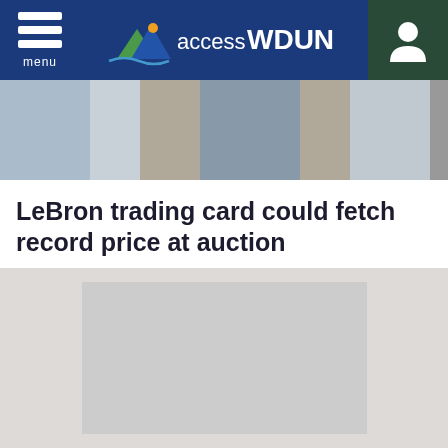accessWDUN
[Figure (screenshot): News article thumbnail image showing people, cropped at top]
LeBron trading card could fetch record price at auction
LeBron James might be on the cusp of setting another record
5:34PM ( 4 days ago )
[Figure (other): Advertisement placeholder box, gray rectangle]